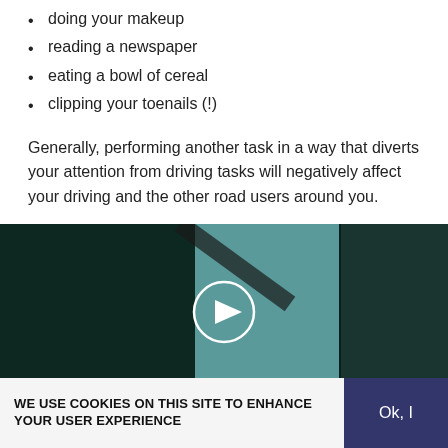doing your makeup
reading a newspaper
eating a bowl of cereal
clipping your toenails (!)
Generally, performing another task in a way that diverts your attention from driving tasks will negatively affect your driving and the other road users around you.
[Figure (screenshot): Video player showing a person driving a car, viewed from inside the vehicle. A circular white play button is centered on the video thumbnail.]
WE USE COOKIES ON THIS SITE TO ENHANCE YOUR USER EXPERIENCE
Ok, I